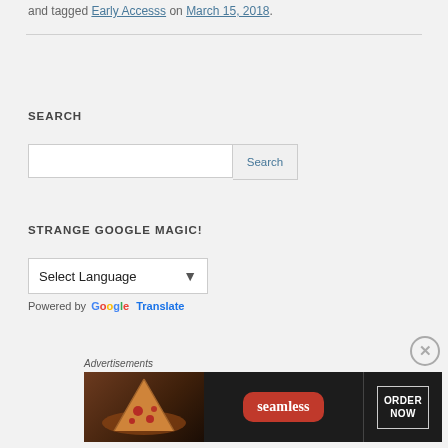and tagged Early Accesss on March 15, 2018.
SEARCH
Search input and button
STRANGE GOOGLE MAGIC!
Select Language (dropdown)
Powered by Google Translate
Advertisements
[Figure (photo): Seamless food delivery advertisement banner showing pizza slices with 'seamless' logo and 'ORDER NOW' button on dark background]